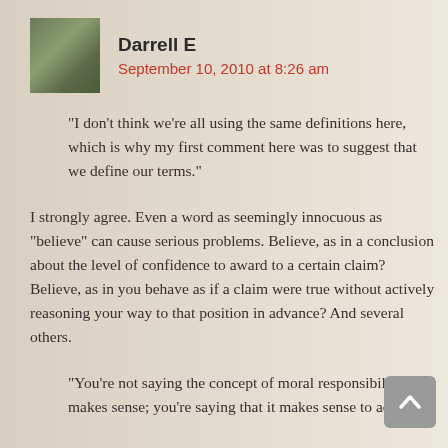Darrell E
September 10, 2010 at 8:26 am
“I don’t think we’re all using the same definitions here, which is why my first comment here was to suggest that we define our terms.”
I strongly agree. Even a word as seemingly innocuous as “believe” can cause serious problems. Believe, as in a conclusion about the level of confidence to award to a certain claim? Believe, as in you behave as if a claim were true without actively reasoning your way to that position in advance? And several others.
“You’re not saying the concept of moral responsibility makes sense; you’re saying that it makes sense to act as if